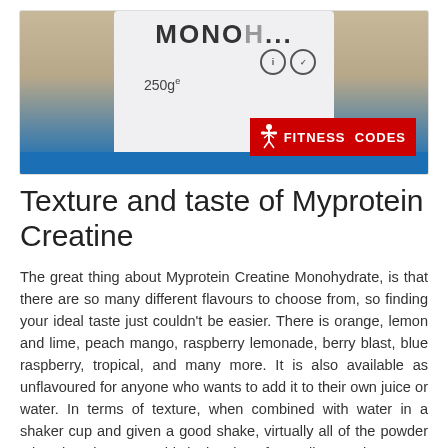[Figure (photo): Photo of a Myprotein Creatine Monohydrate 250g bag against a sandy/beige background, with a red 'FITNESS CODES' logo overlay in the bottom right corner.]
Texture and taste of Myprotein Creatine
The great thing about Myprotein Creatine Monohydrate, is that there are so many different flavours to choose from, so finding your ideal taste just couldn't be easier. There is orange, lemon and lime, peach mango, raspberry lemonade, berry blast, blue raspberry, tropical, and many more. It is also available as unflavoured for anyone who wants to add it to their own juice or water. In terms of texture, when combined with water in a shaker cup and given a good shake, virtually all of the powder mixes into the water. This is the sign of a quality creatine